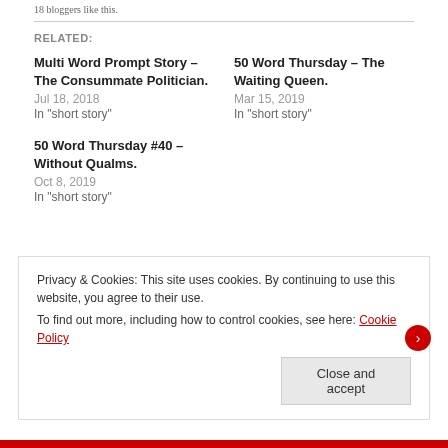18 bloggers like this.
RELATED:
Multi Word Prompt Story – The Consummate Politician.
Jul 18, 2018
In "short story"
50 Word Thursday – The Waiting Queen.
Mar 15, 2019
In "short story"
50 Word Thursday #40 – Without Qualms.
Oct 8, 2019
In "short story"
Privacy & Cookies: This site uses cookies. By continuing to use this website, you agree to their use.
To find out more, including how to control cookies, see here: Cookie Policy